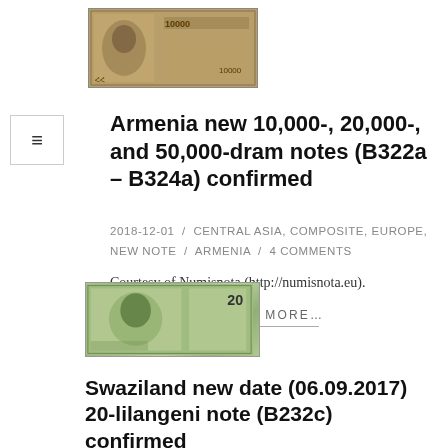[Figure (photo): Thumbnail of Armenian 10,000-dram banknote]
Armenia new 10,000-, 20,000-, and 50,000-dram notes (B322a – B324a) confirmed
2018-12-01 / CENTRAL ASIA, COMPOSITE, EUROPE, NEW NOTE / ARMENIA / 4 COMMENTS
Courtesy of Numisnota (http://numisnota.eu).
READ MORE…
[Figure (photo): Thumbnail of Swaziland 20-lilangeni banknote]
Swaziland new date (06.09.2017) 20-lilangeni note (B232c) confirmed